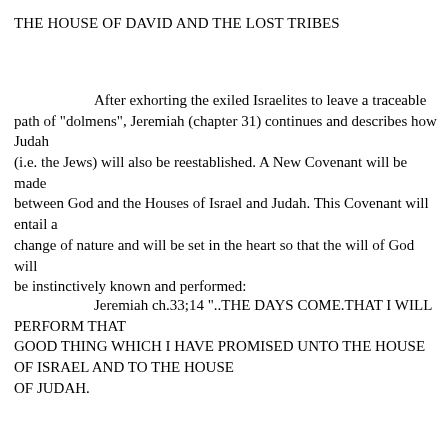THE HOUSE OF DAVID AND THE LOST TRIBES
After exhorting the exiled Israelites to leave a traceable path of "dolmens", Jeremiah (chapter 31) continues and describes how Judah (i.e. the Jews) will also be reestablished. A New Covenant will be made between God and the Houses of Israel and Judah. This Covenant will entail a change of nature and will be set in the heart so that the will of God will be instinctively known and performed:
Jeremiah ch.33;14 "..THE DAYS COME.THAT I WILL PERFORM THAT GOOD THING WHICH I HAVE PROMISED UNTO THE HOUSE OF ISRAEL AND TO THE HOUSE OF JUDAH.